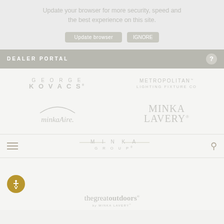Update your browser for more security, speed and the best experience on this site.
[Figure (screenshot): Two buttons: 'Update browser' and a close/dismiss button, both greyed out]
DEALER PORTAL
[Figure (logo): George Kovacs logo in light grey]
[Figure (logo): Metropolitan Lighting Fixture Co logo in light grey]
[Figure (logo): minkaAire. logo in light grey with arc above text]
[Figure (logo): Minka Lavery logo in light grey serif font]
[Figure (logo): MINKA GROUP logo in light grey with decorative lines]
[Figure (logo): thegreatoutdoors by MINKA LAVERY logo in light grey]